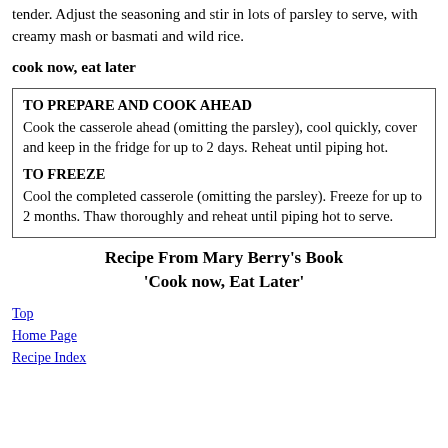tender. Adjust the seasoning and stir in lots of parsley to serve, with creamy mash or basmati and wild rice.
cook now, eat later
| TO PREPARE AND COOK AHEAD | Cook the casserole ahead (omitting the parsley), cool quickly, cover and keep in the fridge for up to 2 days. Reheat until piping hot. |
| TO FREEZE | Cool the completed casserole (omitting the parsley). Freeze for up to 2 months. Thaw thoroughly and reheat until piping hot to serve. |
Recipe From Mary Berry's Book 'Cook now, Eat Later'
Top
Home Page
Recipe Index